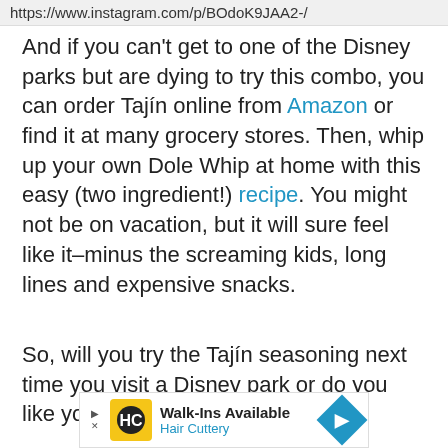https://www.instagram.com/p/BOdoK9JAA2-/
And if you can't get to one of the Disney parks but are dying to try this combo, you can order Tajín online from Amazon or find it at many grocery stores. Then, whip up your own Dole Whip at home with this easy (two ingredient!) recipe. You might not be on vacation, but it will sure feel like it–minus the screaming kids, long lines and expensive snacks.
So, will you try the Tajín seasoning next time you visit a Disney park or do you like your
[Figure (other): Advertisement banner for Hair Cuttery: Walk-Ins Available, Hair Cuttery, with yellow HC logo and blue diamond arrow icon]